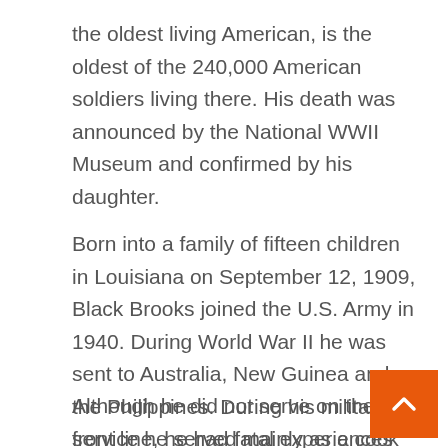the oldest living American, is the oldest of the 240,000 American soldiers living there. His death was announced by the National WWII Museum and confirmed by his daughter.
Born into a family of fifteen children in Louisiana on September 12, 1909, Black Brooks joined the U.S. Army in 1940. During World War II he was sent to Australia, New Guinea and the Philippines. During his military service he served mainly as a cook for white officers
Although he did not serve on the front line, he had fatal experiences during the war. Once the plane he